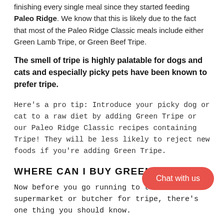finishing every single meal since they started feeding Paleo Ridge. We know that this is likely due to the fact that most of the Paleo Ridge Classic meals include either Green Lamb Tripe, or Green Beef Tripe.
The smell of tripe is highly palatable for dogs and cats and especially picky pets have been known to prefer tripe.
Here's a pro tip: Introduce your picky dog or cat to a raw diet by adding Green Tripe or our Paleo Ridge Classic recipes containing Tripe! They will be less likely to reject new foods if you're adding Green Tripe.
WHERE CAN I BUY GREEN TRIPE?
Now before you go running to the supermarket or butcher for tripe, there's one thing you should know.